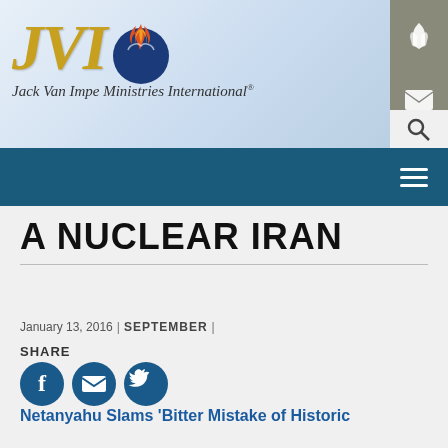[Figure (logo): Jack Van Impe Ministries International logo with gold JMI text, flame/dove emblem, dark blue circle, and tagline 'Jack Van Impe Ministries International®']
A NUCLEAR IRAN
January 13, 2016 | SEPTEMBER |
SHARE
[Figure (illustration): Social media sharing icons: Facebook, Email/envelope, Twitter]
Netanyahu Slams 'Bitter Mistake of Historic